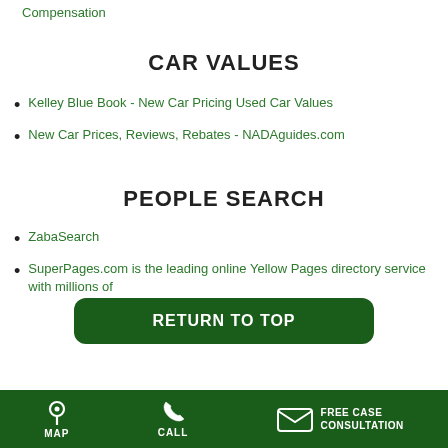Compensation
CAR VALUES
Kelley Blue Book - New Car Pricing Used Car Values
New Car Prices, Reviews, Rebates - NADAguides.com
PEOPLE SEARCH
ZabaSearch
SuperPages.com is the leading online Yellow Pages directory service with millions of
RETURN TO TOP
MAP   CALL   FREE CASE CONSULTATION